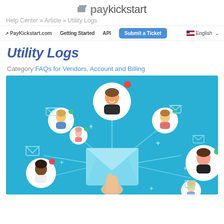paykickstart — Help Center » Article » Utility Logs
PayKickstart.com  Getting Started  API  Submit a Ticket  English
Utility Logs
Category  FAQs for Vendors, Account and Billing
[Figure (illustration): Flat illustration on a blue background showing a network of cartoon avatar figures connected by lines, surrounding a large envelope being pressed by a pointing hand finger. Several envelope icons and plus signs are also scattered around the scene, representing email/messaging utility.]